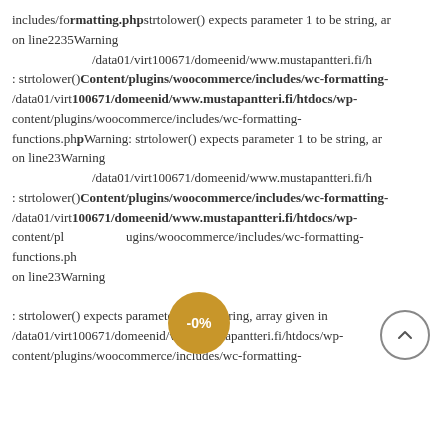includes/formatting.php strtolower() expects parameter 1 to be string, array given on line2235Warning /data01/virt100671/domeenid/www.mustapantteri.fi/h : strtolower() Content/plugins/woocommerce/includes/wc-formatting- /data01/virt100671/domeenid/www.mustapantteri.fi/htdocs/wp-content/plugins/woocommerce/includes/wc-formatting-functions.php Warning: strtolower() expects parameter 1 to be string, array given on line23Warning /data01/virt100671/domeenid/www.mustapantteri.fi/h : strtolower() Content/plugins/woocommerce/includes/wc-formatting- /data01/virt100671/domeenid/www.mustapantteri.fi/htdocs/wp-content/plugins/woocommerce/includes/wc-formatting-functions.php on line23Warning : strtolower() expects parameter 1 to be string, array given in /data01/virt100671/domeenid/www.mustapantteri.fi/htdocs/wp-content/plugins/woocommerce/includes/wc-formatting-